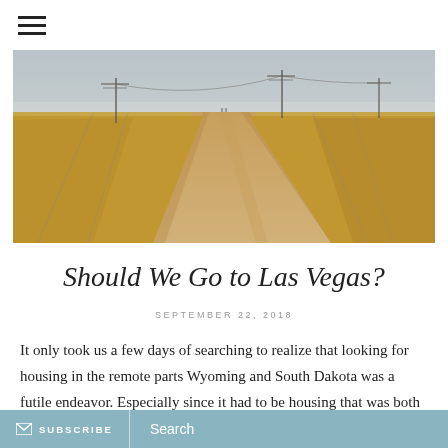[Figure (photo): A dirt path through dry golden prairie grasslands under a pale blue sky, with power line poles in the distance on either side.]
Should We Go to Las Vegas?
SEPTEMBER 22, 2018
It only took us a few days of searching to realize that looking for housing in the remote parts Wyoming and South Dakota was a futile endeavor. Especially since it had to be housing that was both safe for me and
SUBSCRIBE   Search